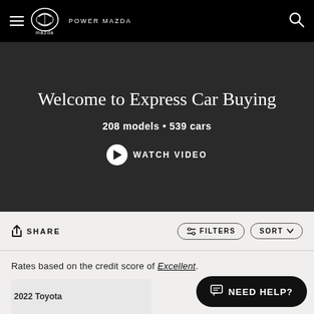Power Mazda
Welcome to Express Car Buying
208 models • 539 cars
WATCH VIDEO
SHARE
FILTERS
SORT
Rates based on the credit score of Excellent.
2022 Toyota
NEED HELP?